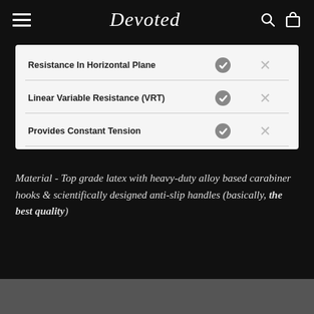Devoted
| Feature | Check | X |
| --- | --- | --- |
| Resistance In Horizontal Plane | ✓ | × |
| Linear Variable Resistance (VRT) | ✓ | × |
| Provides Constant Tension | ✓ | × |
Material - Top grade latex with heavy-duty alloy based carabiner hooks & scientifically designed anti-slip handles (basically, the best quality)